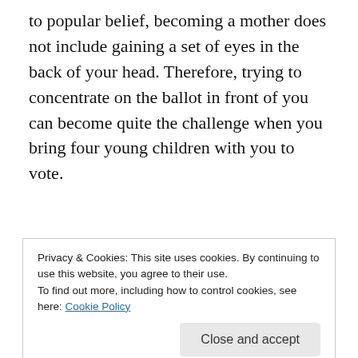to popular belief, becoming a mother does not include gaining a set of eyes in the back of your head. Therefore, trying to concentrate on the ballot in front of you can become quite the challenge when you bring four young children with you to vote.
[Figure (screenshot): WordPress Reader promotional screenshot showing 'Discover new reads on the go.' with UI showing Following, Discover, Likes, Saved tabs and a 'You might like' section with tags: Family, Reading, Music, and a blog entry 'Around the World with Pam'.]
Privacy & Cookies: This site uses cookies. By continuing to use this website, you agree to their use.
To find out more, including how to control cookies, see here: Cookie Policy